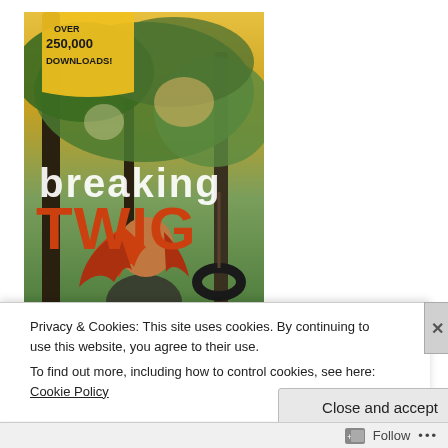[Figure (illustration): Book cover for 'Breaking Twig' showing a girl with red hair viewed from behind, standing among trees. Top-left corner has a yellow badge reading 'OVER 250,000 DOWNLOADS!'. Title text 'breaking' in white lowercase and 'TWIG' in large orange uppercase letters.]
Privacy & Cookies: This site uses cookies. By continuing to use this website, you agree to their use.
To find out more, including how to control cookies, see here: Cookie Policy
Close and accept
Follow ···